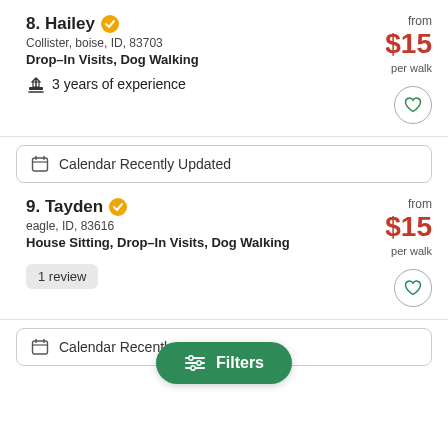8. Hailey — Collister, boise, ID, 83703 — Drop-In Visits, Dog Walking — 3 years of experience — from $15 per walk
Calendar Recently Updated
9. Tayden — eagle, ID, 83616 — House Sitting, Drop-In Visits, Dog Walking — 1 review — from $15 per walk
Calendar Recently
Filters